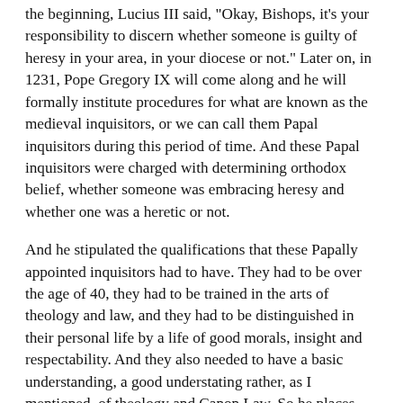the beginning, Lucius III said, "Okay, Bishops, it's your responsibility to discern whether someone is guilty of heresy in your area, in your diocese or not." Later on, in 1231, Pope Gregory IX will come along and he will formally institute procedures for what are known as the medieval inquisitors, or we can call them Papal inquisitors during this period of time. And these Papal inquisitors were charged with determining orthodox belief, whether someone was embracing heresy and whether one was a heretic or not.
And he stipulated the qualifications that these Papally appointed inquisitors had to have. They had to be over the age of 40, they had to be trained in the arts of theology and law, and they had to be distinguished in their personal life by a life of good morals, insight and respectability. And they also needed to have a basic understanding, a good understating rather, as I mentioned, of theology and Canon Law. So he places qualifications on who now can judge whether someone has actually embraced heresy or not.